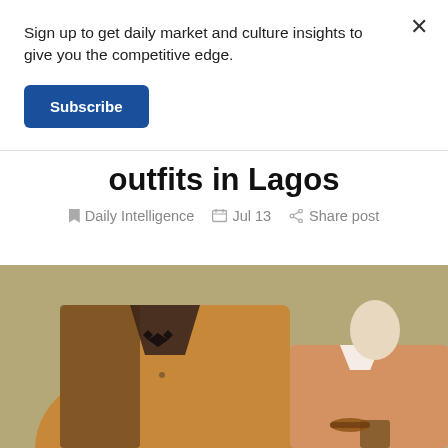Sign up to get daily market and culture insights to give you the competitive edge.
Subscribe
outfits in Lagos
Daily Intelligence   Jul 13   Share post
[Figure (photo): Two mannequins displaying men's clothing — a brown/tan textured jacket with dark collar and bow tie on the left, and a tan/orange patterned button-up shirt on the right, against a warm beige background with display stand visible.]